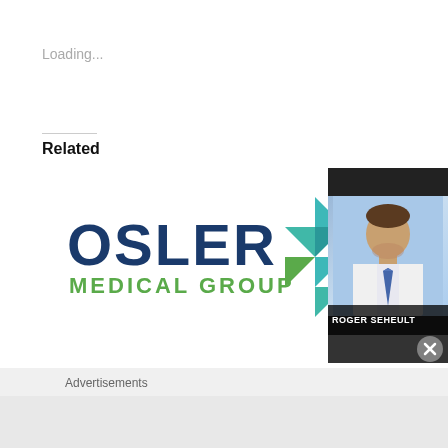Loading...
Related
[Figure (logo): Osler Medical Group logo with geometric diamond shape in teal, blue, green, and orange colors]
[Figure (photo): Roger Seheult popup advertisement showing a man in a white coat with blue tie against a blue background]
Advertisements